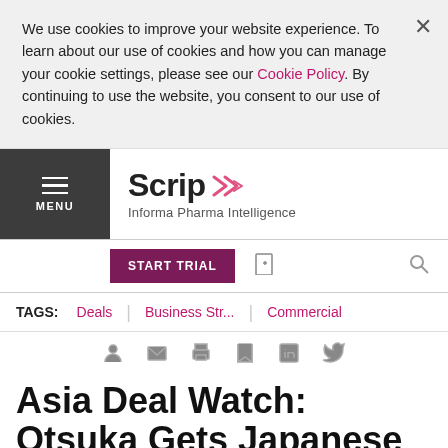We use cookies to improve your website experience. To learn about our use of cookies and how you can manage your cookie settings, please see our Cookie Policy. By continuing to use the website, you consent to our use of cookies.
Scrip — Informa Pharma Intelligence
START TRIAL
TAGS: Deals | Business Str... | Commercial
Asia Deal Watch: Otsuka Gets Japanese Rights To